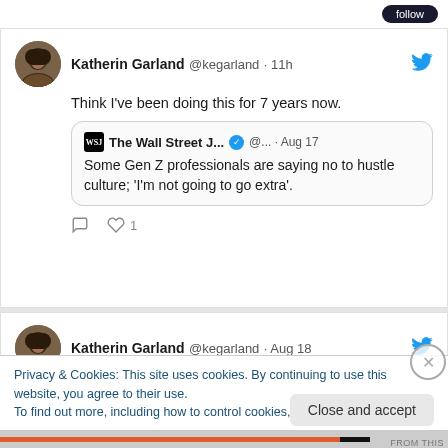[Figure (screenshot): Top partial area with dark button partially visible]
Katherin Garland @kegarland · 11h
Think I've been doing this for 7 years now.
The Wall Street J... @... · Aug 17
Some Gen Z professionals are saying no to hustle culture; 'I'm not going to go extra'.
1 Like
Katherin Garland @kegarland · Aug 18
"Are there still people who are natural wordsmiths? People, who go the extra mile to
Privacy & Cookies: This site uses cookies. By continuing to use this website, you agree to their use.
To find out more, including how to control cookies, see here: Cookie Policy
Close and accept